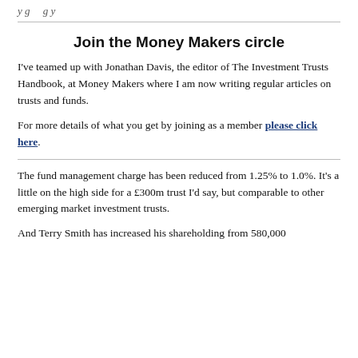y g g y
Join the Money Makers circle
I've teamed up with Jonathan Davis, the editor of The Investment Trusts Handbook, at Money Makers where I am now writing regular articles on trusts and funds.
For more details of what you get by joining as a member please click here.
The fund management charge has been reduced from 1.25% to 1.0%. It's a little on the high side for a £300m trust I'd say, but comparable to other emerging market investment trusts.
And Terry Smith has increased his shareholding from 580,000